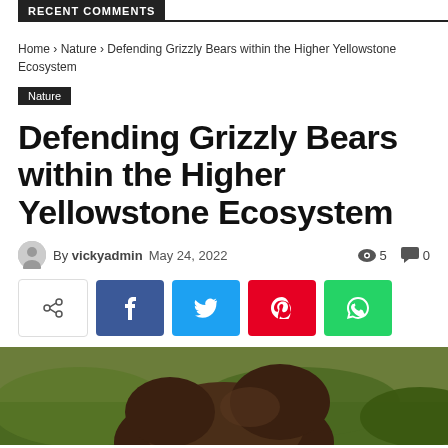RECENT COMMENTS
Home › Nature › Defending Grizzly Bears within the Higher Yellowstone Ecosystem
Nature
Defending Grizzly Bears within the Higher Yellowstone Ecosystem
By vickyadmin  May 24, 2022  👁 5  💬 0
[Figure (other): Social share buttons: share, Facebook, Twitter, Pinterest, WhatsApp]
[Figure (photo): Photo of a grizzly bear in a grassy/green outdoor setting]